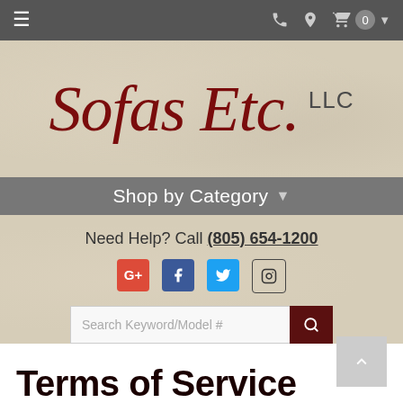≡  [phone icon] [location icon] [cart icon] 0 ▾
[Figure (logo): Sofas Etc., LLC logo in dark red italic serif font on beige textured background]
Shop by Category ▾
Need Help? Call (805) 654-1200
[Figure (infographic): Social media icons: Google+, Facebook, Twitter, Instagram]
[Figure (screenshot): Search bar with placeholder text 'Search Keyword/Model #' and dark red search button]
Terms of Service